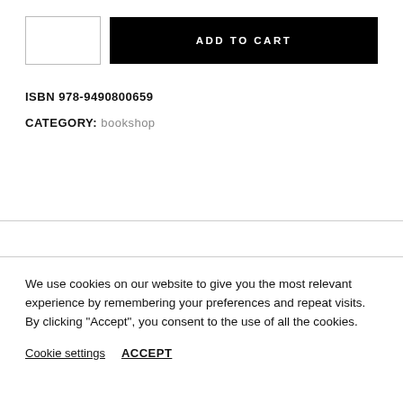[Figure (other): Add to cart UI with quantity input box and black ADD TO CART button]
ISBN 978-9490800659
CATEGORY: bookshop
We use cookies on our website to give you the most relevant experience by remembering your preferences and repeat visits. By clicking “Accept”, you consent to the use of all the cookies.
Cookie settings   ACCEPT